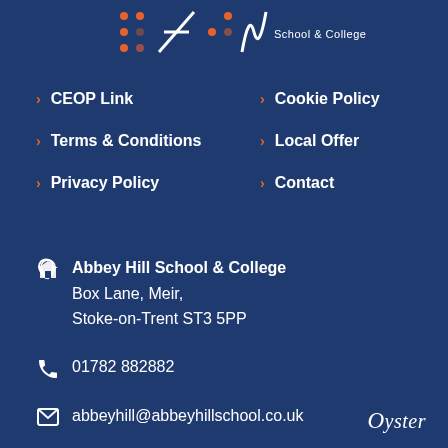[Figure (logo): Abbey Hill School & College partial logo at top of page]
CEOP Link
Cookie Policy
Terms & Conditions
Local Offer
Privacy Policy
Contact
Abbey Hill School & College
Box Lane, Meir,
Stoke-on-Trent ST3 5PP
01782 882882
abbeyhill@abbeyhillschool.co.uk
Oyster